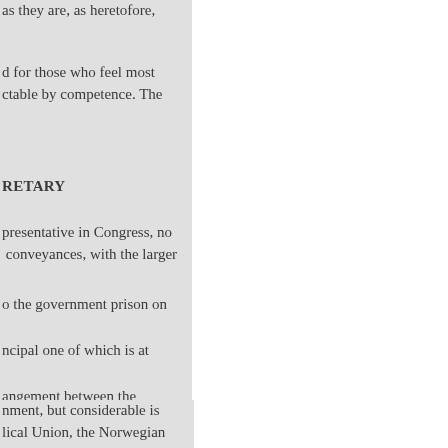as they are, as heretofore,
d for those who feel most
ctable by competence. The
RETARY
presentative in Congress, no
conveyances, with the larger
o the government prison on
ncipal one of which is at
angement between the
re been sent there to date, i of
nment, but considerable is
lical Union, the Norwegian
st, Baptist, Moravian, and